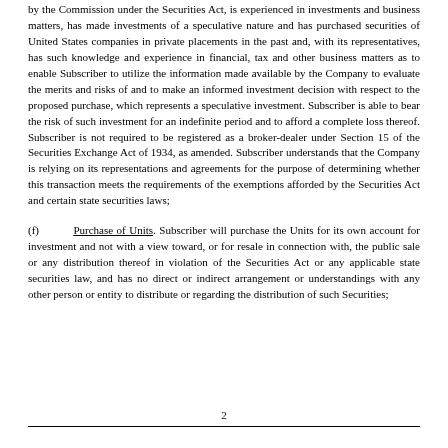by the Commission under the Securities Act, is experienced in investments and business matters, has made investments of a speculative nature and has purchased securities of United States companies in private placements in the past and, with its representatives, has such knowledge and experience in financial, tax and other business matters as to enable Subscriber to utilize the information made available by the Company to evaluate the merits and risks of and to make an informed investment decision with respect to the proposed purchase, which represents a speculative investment. Subscriber is able to bear the risk of such investment for an indefinite period and to afford a complete loss thereof. Subscriber is not required to be registered as a broker-dealer under Section 15 of the Securities Exchange Act of 1934, as amended. Subscriber understands that the Company is relying on its representations and agreements for the purpose of determining whether this transaction meets the requirements of the exemptions afforded by the Securities Act and certain state securities laws;
(f) Purchase of Units. Subscriber will purchase the Units for its own account for investment and not with a view toward, or for resale in connection with, the public sale or any distribution thereof in violation of the Securities Act or any applicable state securities law, and has no direct or indirect arrangement or understandings with any other person or entity to distribute or regarding the distribution of such Securities;
2